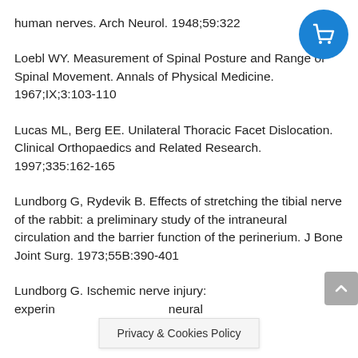human nerves. Arch Neurol. 1948;59:322
Loebl WY. Measurement of Spinal Posture and Range of Spinal Movement. Annals of Physical Medicine. 1967;IX;3:103-110
Lucas ML, Berg EE. Unilateral Thoracic Facet Dislocation. Clinical Orthopaedics and Related Research. 1997;335:162-165
Lundborg G, Rydevik B. Effects of stretching the tibial nerve of the rabbit: a preliminary study of the intraneural circulation and the barrier function of the perinerium. J Bone Joint Surg. 1973;55B:390-401
Lundborg G. Ischemic nerve injury: experin... neural
Privacy & Cookies Policy